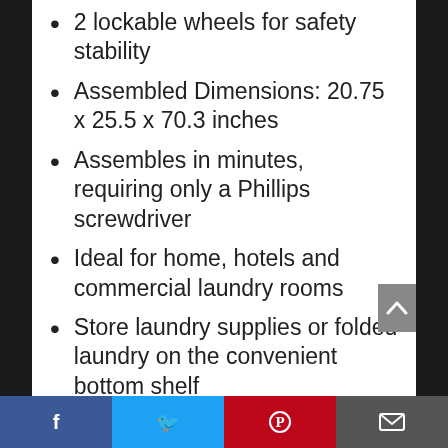2 lockable wheels for safety stability
Assembled Dimensions: 20.75 x 25.5 x 70.3 inches
Assembles in minutes, requiring only a Phillips screwdriver
Ideal for home, hotels and commercial laundry rooms
Store laundry supplies or folded laundry on the convenient bottom shelf
Whitmor's Service Guarantee – we stand by our products, if you have any problems, contact us for help
Facebook | Twitter | Pinterest | Email